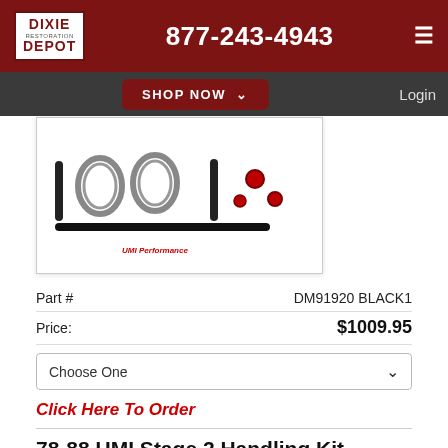Dixie Restoration Depot | 877-243-4943
[Figure (photo): Product photo of UMI Stage 2 Handling Kit showing coil springs, shock absorbers, sway bar and hardware components with UMI Performance logo]
Part #   DM91920 BLACK1
Price:   $1009.95
Choose One
Click Here To Order
78-88 UMI Stage 2 Handling Kit
UMI Performance's Stage 2 handling kit includes